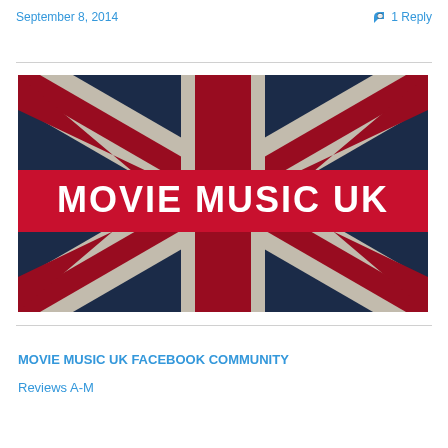September 8, 2014
1 Reply
[Figure (illustration): Union Jack (UK flag) with distressed/grunge texture in red, white, and blue. A red horizontal banner across the middle displays the text 'MOVIE MUSIC UK' in white bold letters.]
MOVIE MUSIC UK FACEBOOK COMMUNITY
Reviews A-M